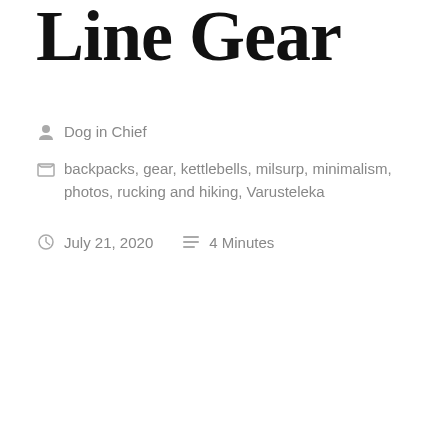Line Gear
Dog in Chief
backpacks, gear, kettlebells, milsurp, minimalism, photos, rucking and hiking, Varusteleka
July 21, 2020   4 Minutes